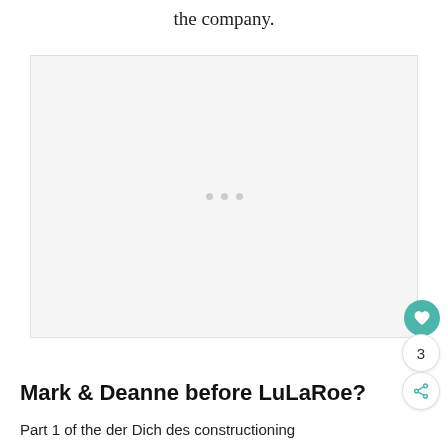the company.
[Figure (photo): Large light gray placeholder image box with three small gray dots in the center, indicating a loading or missing image. A teal heart/like button, a white circle with '3', and a white share button are overlaid on the right edge.]
Mark & Deanne before LuLaRoe?
Part 1 of the der Dich des constructioning